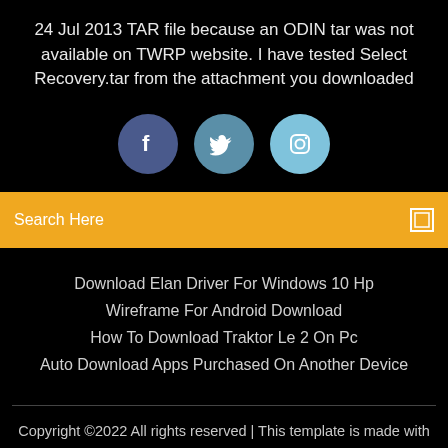24 Jul 2013 TAR file because an ODIN tar was not available on TWRP website. I have tested Select Recovery.tar from the attachment you downloaded
[Figure (illustration): Three social media circular icon buttons: Facebook (dark blue), Twitter (medium blue), Instagram (light blue)]
Search Here
Download Elan Driver For Windows 10 Hp
Wireframe For Android Download
How To Download Traktor Le 2 On Pc
Auto Download Apps Purchased On Another Device
Copyright ©2022 All rights reserved | This template is made with ♡ by Colorlib